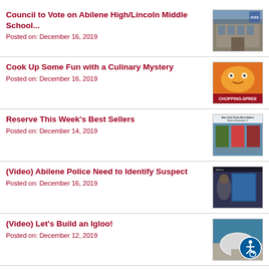Council to Vote on Abilene High/Lincoln Middle School...
Posted on: December 16, 2019
[Figure (photo): Photo of a school building exterior]
Cook Up Some Fun with a Culinary Mystery
Posted on: December 16, 2019
[Figure (photo): Chopping Spree culinary mystery image with orange background]
Reserve This Week's Best Sellers
Posted on: December 14, 2019
[Figure (photo): New York Times Best Sellers book covers]
(Video) Abilene Police Need to Identify Suspect
Posted on: December 16, 2019
[Figure (photo): Video screenshot of police surveillance footage]
(Video) Let's Build an Igloo!
Posted on: December 12, 2019
[Figure (photo): Video screenshot of igloo building with accessibility badge overlay]
(Video) Viva Strings! Mini-Concert at City